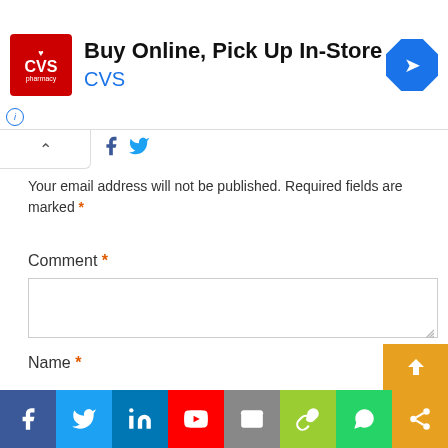[Figure (screenshot): CVS Pharmacy advertisement banner: Buy Online, Pick Up In-Store with CVS logo and navigation arrow icon]
Your email address will not be published. Required fields are marked *
Comment *
Name *
[Figure (screenshot): Social media sharing bar at bottom with Facebook, Twitter, LinkedIn, YouTube, Email, Copy link, WhatsApp, and Share icons]